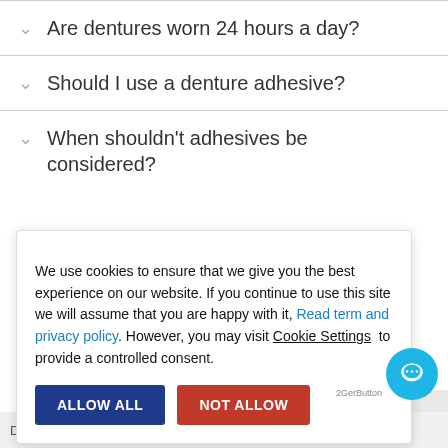Are dentures worn 24 hours a day?
Should I use a denture adhesive?
When shouldn't adhesives be considered?
We use cookies to ensure that we give you the best experience on our website. If you continue to use this site we will assume that you are happy with it, Read term and privacy policy. However, you may visit Cookie Settings to provide a controlled consent.
ALLOW ALL  NOT ALLOW
Dentures are economical and removable for easy